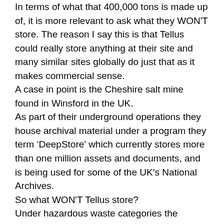In terms of what that 400,000 tons is made up of, it is more relevant to ask what they WON'T store. The reason I say this is that Tellus could really store anything at their site and many similar sites globally do just that as it makes commercial sense. A case in point is the Cheshire salt mine found in Winsford in the UK. As part of their underground operations they house archival material under a program they term 'DeepStore' which currently stores more than one million assets and documents, and is being used for some of the UK's National Archives. So what WON'T Tellus store? Under hazardous waste categories the company have clearly stated they will not accept any nuclear waste, or waste streams falling under low level (LLW), intermediate (ILW) or high level (HLW)